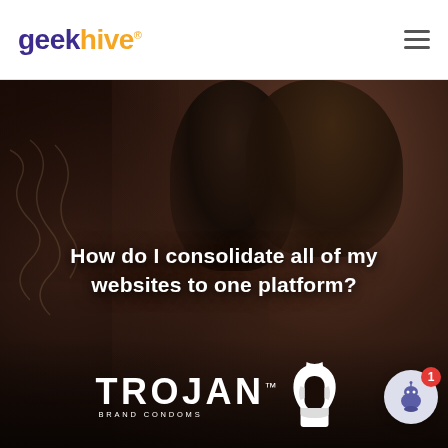geekhive
[Figure (photo): Dark moody background image of two people embracing (backs visible), with white bold text overlay reading 'How do I consolidate all of my websites to one platform?' and a TROJAN BRAND CONDOMS logo at the bottom. A chat widget button with badge '1' is in the bottom right corner.]
How do I consolidate all of my websites to one platform?